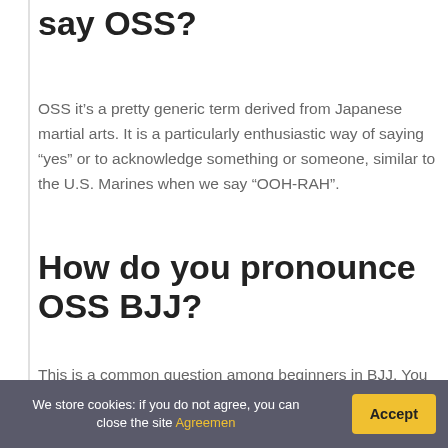say OSS?
OSS it's a pretty generic term derived from Japanese martial arts. It is a particularly enthusiastic way of saying “yes” or to acknowledge something or someone, similar to the U.S. Marines when we say “OOH-RAH”.
How do you pronounce OSS BJJ?
This is a common question among beginners in BJJ. You might hear it pronounced as the traditional Oss (oh-ssss) or even Osu (oh-suuu).
What does OSS mean in
We store cookies: if you do not agree, you can close the site Agreemen